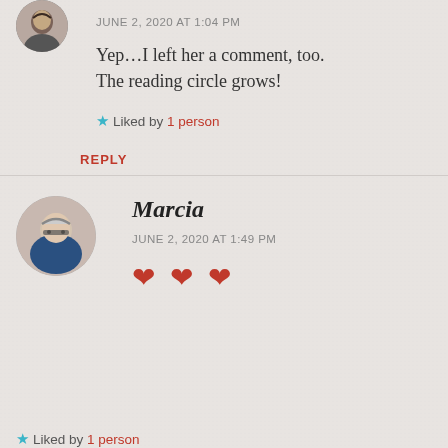[Figure (photo): Small circular avatar of a woman with dark hair]
JUNE 2, 2020 AT 1:04 PM
Yep…I left her a comment, too. The reading circle grows!
★ Liked by 1 person
REPLY
[Figure (photo): Circular avatar of Marcia, an older woman with glasses and gray hair]
Marcia
JUNE 2, 2020 AT 1:49 PM
♥ ♥ ♥
★ Liked by 1 person